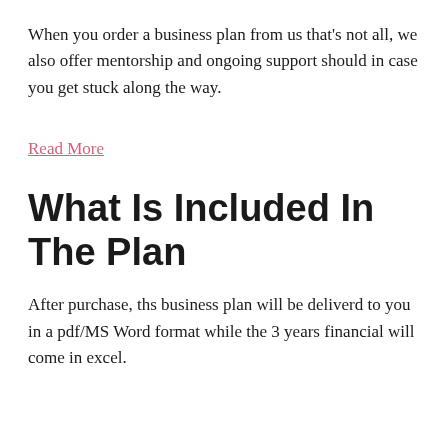When you order a business plan from us that's not all, we also offer mentorship and ongoing support should in case you get stuck along the way.
Read More
What Is Included In The Plan
After purchase, ths business plan will be deliverd to you in a pdf/MS Word format while the 3 years financial will come in excel.